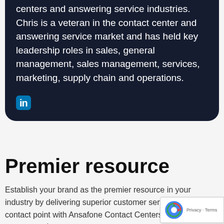centers and answering service industries. Chris is a veteran in the contact center and answering service market and has held key leadership roles in sales, general management, sales management, services, marketing, supply chain and operations.
[Figure (logo): LinkedIn logo icon (in)]
Premier resource
Establish your brand as the premier resource in your industry by delivering superior customer service at every contact point with Ansafone Contact Centers. Your customers deserve a
[Figure (other): Google reCAPTCHA badge with Privacy and Terms links]